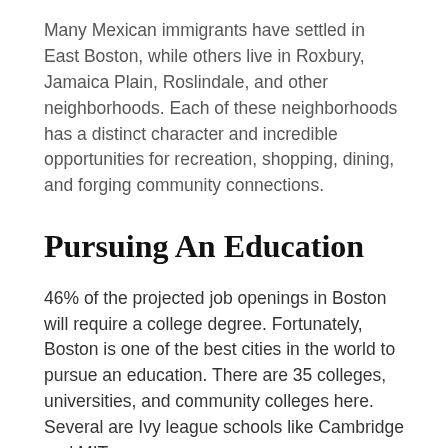Many Mexican immigrants have settled in East Boston, while others live in Roxbury, Jamaica Plain, Roslindale, and other neighborhoods. Each of these neighborhoods has a distinct character and incredible opportunities for recreation, shopping, dining, and forging community connections.
Pursuing An Education
46% of the projected job openings in Boston will require a college degree. Fortunately, Boston is one of the best cities in the world to pursue an education. There are 35 colleges, universities, and community colleges here. Several are Ivy league schools like Cambridge and MIT.
Those who prefer to work with their hands can find an outstanding education at any of Boston's 60+ trade